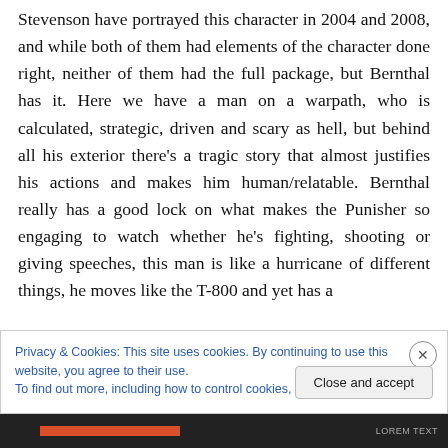Stevenson have portrayed this character in 2004 and 2008, and while both of them had elements of the character done right, neither of them had the full package, but Bernthal has it. Here we have a man on a warpath, who is calculated, strategic, driven and scary as hell, but behind all his exterior there's a tragic story that almost justifies his actions and makes him human/relatable. Bernthal really has a good lock on what makes the Punisher so engaging to watch whether he's fighting, shooting or giving speeches, this man is like a hurricane of different things, he moves like the T-800 and yet has a
Privacy & Cookies: This site uses cookies. By continuing to use this website, you agree to their use.
To find out more, including how to control cookies, see here: Cookie Policy
Close and accept